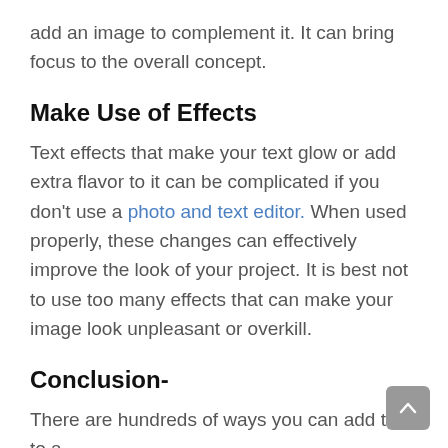add an image to complement it. It can bring focus to the overall concept.
Make Use of Effects
Text effects that make your text glow or add extra flavor to it can be complicated if you don't use a photo and text editor. When used properly, these changes can effectively improve the look of your project. It is best not to use too many effects that can make your image look unpleasant or overkill.
Conclusion-
There are hundreds of ways you can add text to a